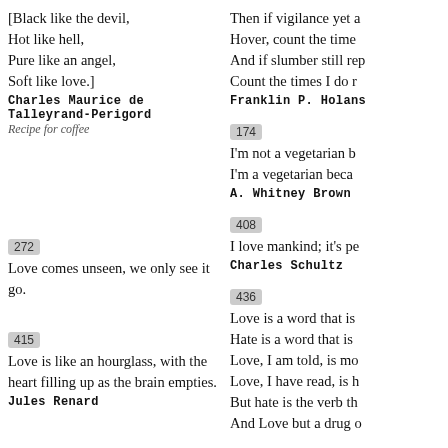[Black like the devil,
Hot like hell,
Pure like an angel,
Soft like love.]
Charles Maurice de Talleyrand-Perigord
Recipe for coffee
Then if vigilance yet a...
Hover, count the time...
And if slumber still rep...
Count the times I do r...
Franklin P. Holans
174
I'm not a vegetarian b...
I'm a vegetarian beca...
A. Whitney Brown
272
Love comes unseen, we only see it go.
408
I love mankind; it's pe...
Charles Schultz
415
Love is like an hourglass, with the heart filling up as the brain empties.
Jules Renard
436
Love is a word that is...
Hate is a word that is...
Love, I am told, is mo...
Love, I have read, is h...
But hate is the verb th...
And Love but a drug o...